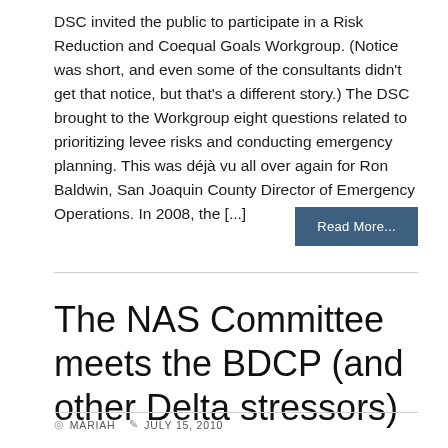DSC invited the public to participate in a Risk Reduction and Coequal Goals Workgroup. (Notice was short, and even some of the consultants didn't get that notice, but that's a different story.) The DSC brought to the Workgroup eight questions related to prioritizing levee risks and conducting emergency planning. This was déjà vu all over again for Ron Baldwin, San Joaquin County Director of Emergency Operations. In 2008, the [...]
Read More...
The NAS Committee meets the BDCP (and other Delta stressors)
MARIAH   JULY 15, 2010